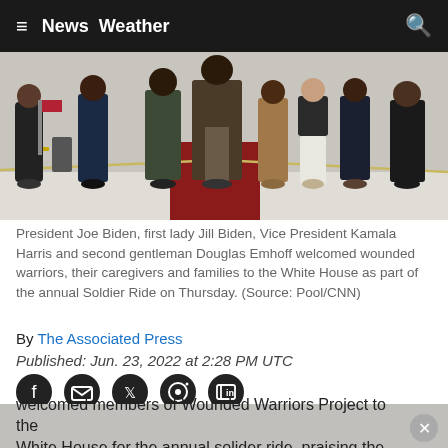≡  News  Weather  🔍
[Figure (photo): Group photo of President Joe Biden, first lady Jill Biden, Vice President Kamala Harris and second gentleman Douglas Emhoff with wounded warriors at the White House, standing in formal arrangement with red carpet and rope barriers.]
President Joe Biden, first lady Jill Biden, Vice President Kamala Harris and second gentleman Douglas Emhoff welcomed wounded warriors, their caregivers and families to the White House as part of the annual Soldier Ride on Thursday.  (Source: Pool/CNN)
By The Associated Press
Published: Jun. 23, 2022 at 2:28 PM UTC
WASHINGTON (AP) — President Joe Biden on Thursday welcomed members of Wounded Warriors Project to the White House for the annual solider ride, praising the